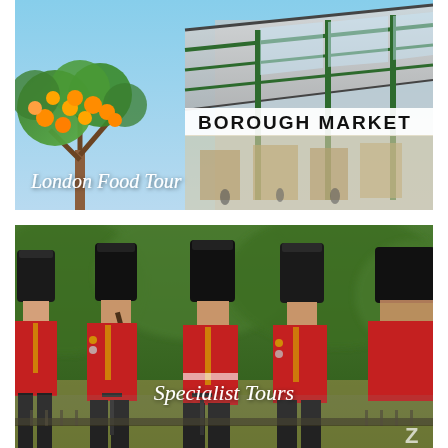[Figure (photo): Photo of Borough Market sign with orange/tangerine tree in foreground, iron and glass roof structure visible. Text overlay reads 'London Food Tour'.]
[Figure (photo): Photo of four Queen's Guard soldiers in red tunics and tall black bearskin hats playing instruments, green trees in background. Text overlay reads 'Specialist Tours'.]